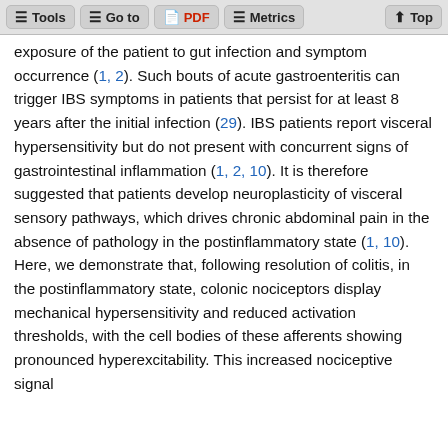Tools | Go to | PDF | Metrics | Top
exposure of the patient to gut infection and symptom occurrence (1, 2). Such bouts of acute gastroenteritis can trigger IBS symptoms in patients that persist for at least 8 years after the initial infection (29). IBS patients report visceral hypersensitivity but do not present with concurrent signs of gastrointestinal inflammation (1, 2, 10). It is therefore suggested that patients develop neuroplasticity of visceral sensory pathways, which drives chronic abdominal pain in the absence of pathology in the postinflammatory state (1, 10). Here, we demonstrate that, following resolution of colitis, in the postinflammatory state, colonic nociceptors display mechanical hypersensitivity and reduced activation thresholds, with the cell bodies of these afferents showing pronounced hyperexcitability. This increased nociceptive signal